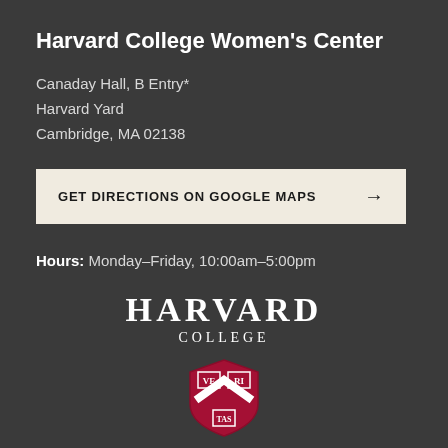Harvard College Women's Center
Canaday Hall, B Entry*
Harvard Yard
Cambridge, MA 02138
GET DIRECTIONS ON GOOGLE MAPS →
Hours: Monday–Friday, 10:00am–5:00pm
[Figure (logo): Harvard College logotype with shield and 'Dean of Students Office' text]
Dean of Students Office